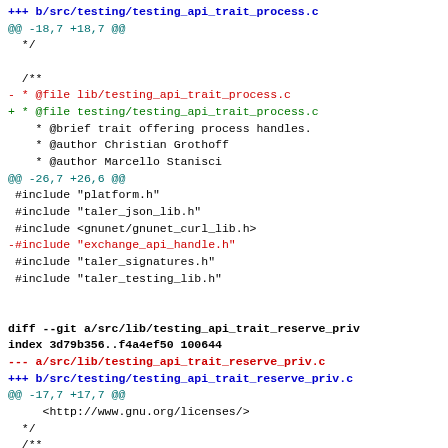+++ b/src/testing/testing_api_trait_process.c
@@ -18,7 +18,7 @@
 */

/**
- * @file lib/testing_api_trait_process.c
+ * @file testing/testing_api_trait_process.c
 * @brief trait offering process handles.
 * @author Christian Grothoff
 * @author Marcello Stanisci
@@ -26,7 +26,6 @@
 #include "platform.h"
 #include "taler_json_lib.h"
 #include <gnunet/gnunet_curl_lib.h>
 -#include "exchange_api_handle.h"
 #include "taler_signatures.h"
 #include "taler_testing_lib.h"


diff --git a/src/lib/testing_api_trait_reserve_priv
index 3d79b356..f4a4ef50 100644
--- a/src/lib/testing_api_trait_reserve_priv.c
+++ b/src/testing/testing_api_trait_reserve_priv.c
@@ -17,7 +17,7 @@
     <http://www.gnu.org/licenses/>
 */
 /**
- * @file lib/testing_api_trait_reserve_priv.c
+ * @file testing/testing_api_trait_reserve_priv.c
 * @brief implements reserve private key trait